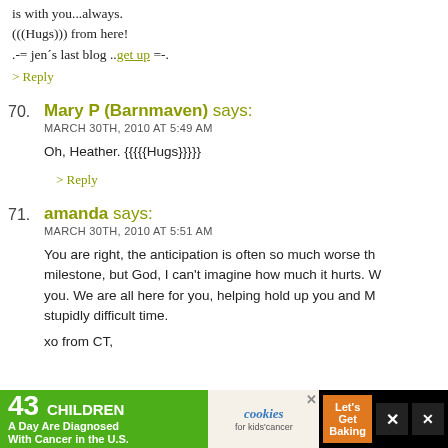is with you...always.
(((Hugs))) from here!
.-= jen´s last blog ..get up =-.
> Reply
70. Mary P (Barnmaven) says:
MARCH 30TH, 2010 AT 5:49 AM
Oh, Heather. {{{{{Hugs}}}}}
> Reply
71. amanda says:
MARCH 30TH, 2010 AT 5:51 AM
You are right, the anticipation is often so much worse th... milestone, but God, I can't imagine how much it hurts. W... you. We are all here for you, helping hold up you and M... stupidly difficult time.
xo from CT,
[Figure (screenshot): Advertisement banner: '43 CHILDREN A Day Are Diagnosed With Cancer in the U.S.' with cookies for kids' cancer logo and 'Let's Get Baking' button]